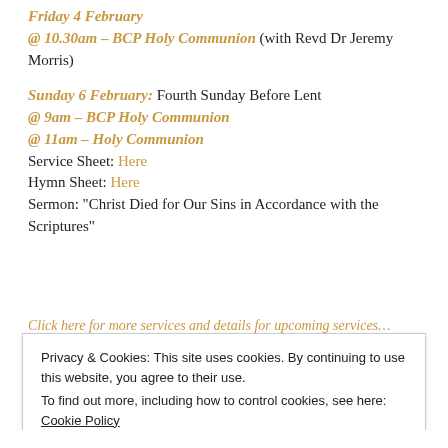Friday 4 February
@ 10.30am – BCP Holy Communion (with Revd Dr Jeremy Morris)
Sunday 6 February: Fourth Sunday Before Lent
@ 9am – BCP Holy Communion
@ 11am – Holy Communion
Service Sheet: Here
Hymn Sheet: Here
Sermon: “Christ Died for Our Sins in Accordance with the Scriptures”
Privacy & Cookies: This site uses cookies. By continuing to use this website, you agree to their use.
To find out more, including how to control cookies, see here: Cookie Policy